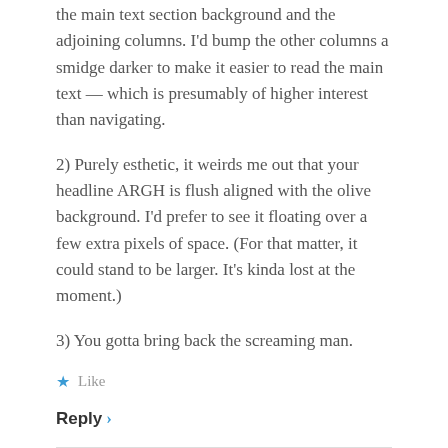the main text section background and the adjoining columns. I'd bump the other columns a smidge darker to make it easier to read the main text — which is presumably of higher interest than navigating.
2) Purely esthetic, it weirds me out that your headline ARGH is flush aligned with the olive background. I'd prefer to see it floating over a few extra pixels of space. (For that matter, it could stand to be larger. It's kinda lost at the moment.)
3) You gotta bring back the screaming man.
★ Like
Reply ›
Jeff Porten says: